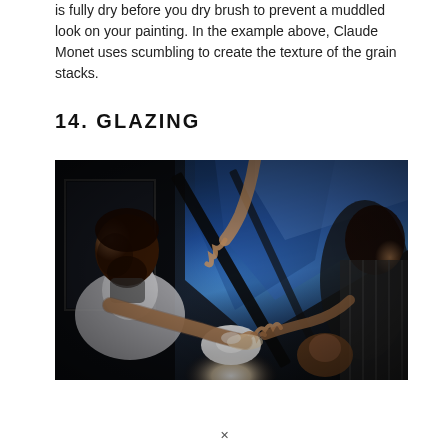is fully dry before you dry brush to prevent a muddled look on your painting. In the example above, Claude Monet uses scumbling to create the texture of the grain stacks.
14. GLAZING
[Figure (photo): A dramatic oil painting showing a bearded man on the left in a white shirt reaching forward with his hands, illuminated figures and hands reaching in the background, with a luminous white light source at the bottom center and blue drapery in the upper right. The style references classical or Renaissance painting technique.]
✕